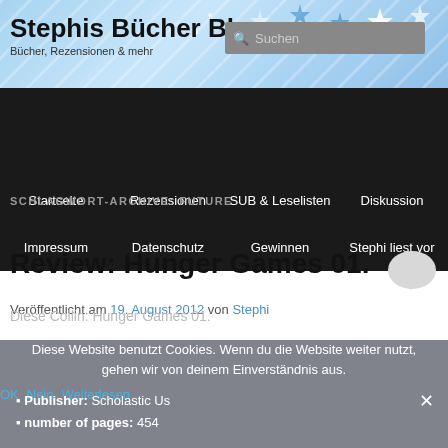Stephis Bücher Blog — Bücher, Rezensionen & mehr
[Figure (screenshot): Website header banner with blue/light blue diagonal stripe pattern and star decorations, site title 'Stephis Bücher Blog', subtitle 'Bücher, Rezensionen & mehr', and a search box on the right.]
SCHLAGWORT-ARCHIVE: FUTURE
Review: Hunger Games 01.
Veröffentlicht am 19. August 2012 von Stephi
Diese Website benutzt Cookies. Wenn du die Website weiter nutzt, gehen wir von deinem Einverständnis aus.
Publisher: Scholastic Us
number of pages: 454